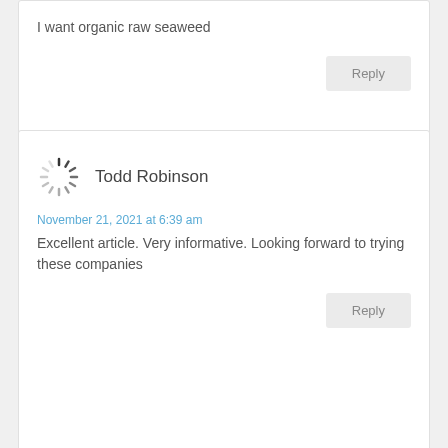I want organic raw seaweed
Reply
Todd Robinson
November 21, 2021 at 6:39 am
Excellent article. Very informative. Looking forward to trying these companies
Reply